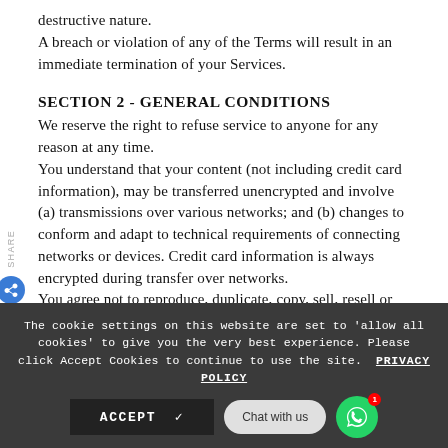destructive nature.
A breach or violation of any of the Terms will result in an immediate termination of your Services.
SECTION 2 - GENERAL CONDITIONS
We reserve the right to refuse service to anyone for any reason at any time.
You understand that your content (not including credit card information), may be transferred unencrypted and involve (a) transmissions over various networks; and (b) changes to conform and adapt to technical requirements of connecting networks or devices. Credit card information is always encrypted during transfer over networks.
You agree not to reproduce, duplicate, copy, sell, resell or exploit any portion of the Service, use of the Service, or access to the Service or any contact on the website through which the service is provided, without express written permission by us.
The headings used in this agreement are included for convenience
The cookie settings on this website are set to 'allow all cookies' to give you the very best experience. Please click Accept Cookies to continue to use the site. PRIVACY POLICY
ACCEPT ✓